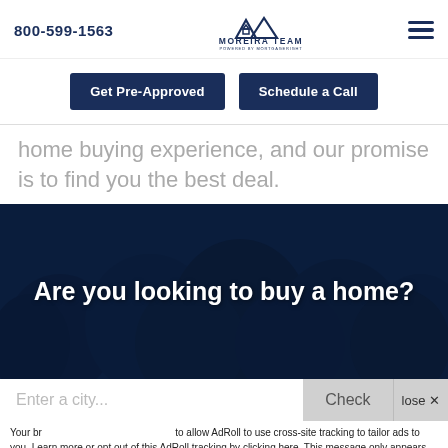800-599-1563 | Moreira Team powered by MortgageRight
[Figure (logo): Moreira Team logo with house/mountain icon and text MOREIRA TEAM POWERED BY MORTGAGERIGHT]
Get Pre-Approved | Schedule a Call
home buying experience, and our promise is to find you the best deal.
[Figure (photo): Dark aerial photo of trees/forest with dark blue overlay and large white bold text: Are you looking to buy a home?]
Enter a city...
Check
lose ✕
Your br... to allow AdRoll to use cross-site tracking to tailor ads to you. Learn more or opt out of this AdRoll tracking by clicking here. This message only appears once.